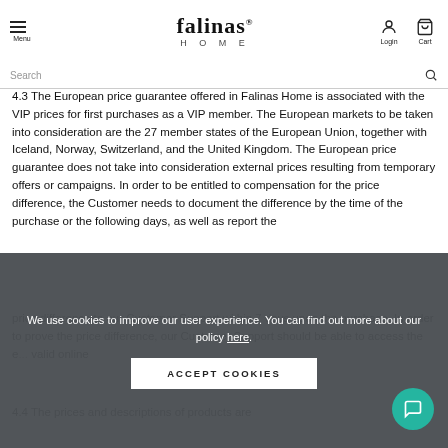falinas HOME — Menu | Login | Cart
4.3 The European price guarantee offered in Falinas Home is associated with the VIP prices for first purchases as a VIP member. The European markets to be taken into consideration are the 27 member states of the European Union, together with Iceland, Norway, Switzerland, and the United Kingdom. The European price guarantee does not take into consideration external prices resulting from temporary offers or campaigns. In order to be entitled to compensation for the price difference, the Customer needs to document the difference by the time of the purchase or the following days, as well as report the price difference to our Customer Support within 7 days upon the purchase. In order to prove the price difference, our Customer Support should be able to access the e... valid online
4.4 The prices and descriptions of products are
We use cookies to improve our user experience. You can find out more about our policy here.
ACCEPT COOKIES